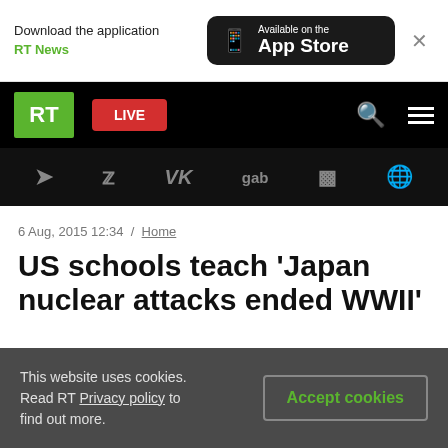Download the application RT News — Available on the App Store
[Figure (screenshot): RT news website mobile navigation bar with green RT logo, red LIVE button, search and menu icons]
[Figure (screenshot): Social media icons bar: Telegram, Twitter, VK, gab, Rumble, and globe icon on black background]
6 Aug, 2015 12:34 / Home
US schools teach 'Japan nuclear attacks ended WWII'
[Figure (photo): Partially visible grayscale photo related to article]
This website uses cookies. Read RT Privacy policy to find out more.
Accept cookies